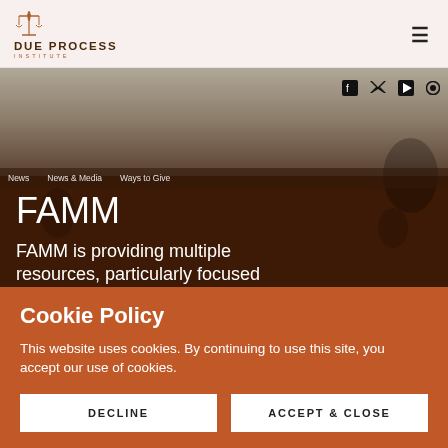[Figure (logo): Due Process Institute logo with scales of justice icon and text DUE PROCESS INSTITUTE]
[Figure (screenshot): FAMM website hero section with dark brown background, social media icons (Facebook, Twitter, YouTube), navigation bar with menu items, large FAMM heading in white, and partial subtitle text 'FAMM is providing multiple resources, particularly focused']
Cookie Policy
This website uses cookies. By continuing to use this site, you accept our use of cookies.
DECLINE
ACCEPT & CLOSE